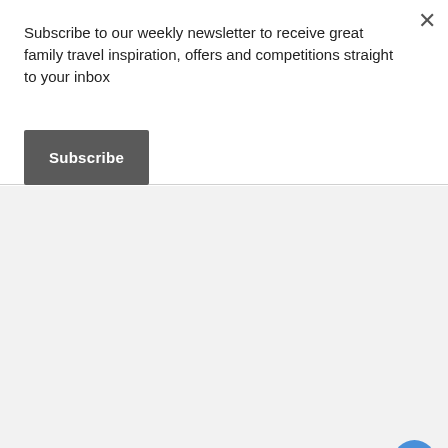Subscribe to our weekly newsletter to receive great family travel inspiration, offers and competitions straight to your inbox
Subscribe
[Figure (screenshot): Gray content area with three gray loading dots centered, a blue heart/like button, a white circle with count '1', and a white share button on the right side]